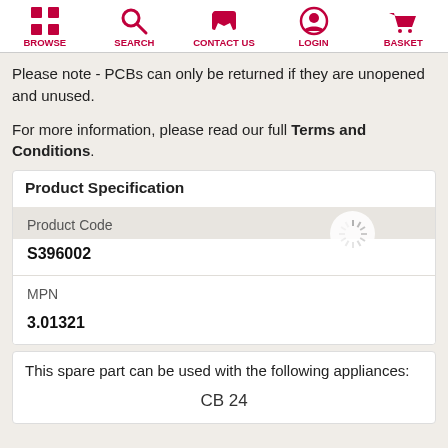BROWSE | SEARCH | CONTACT US | LOGIN | BASKET
Please note - PCBs can only be returned if they are unopened and unused.
For more information, please read our full Terms and Conditions.
Product Specification
| Field | Value |
| --- | --- |
| Product Code | S396002 |
| MPN | 3.01321 |
This spare part can be used with the following appliances:
CB 24